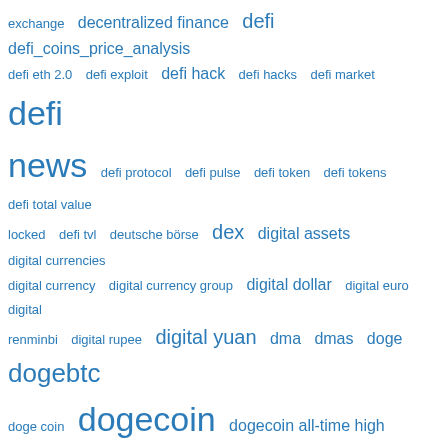exchange  decentralized finance  defi  defi_coins_price_analysis  defi eth 2.0  defi exploit  defi hack  defi hacks  defi market  defi news  defi protocol  defi pulse  defi token  defi tokens  defi total value locked  defi tvl  deutsche börse  dex  digital assets  digital currencies  digital currency  digital currency group  digital dollar  digital euro  digital renminbi  digital rupee  digital yuan  dma  dmas  doge  dogebtc  doge coin  dogecoin  dogecoin all-time high  dogecoin (doge)  dogecoin news  dogecoin price  dogecoin price analysis  dogecoin price prediction  dogeeth  doge price  doge price analysis  doge price prediction  dogeusd  dogeusdc  dogeusdt  do kwon  donald trump  dot  dotbidr  dotbnb  dotbtc  dotbusd  doteth  doteur  dotkrw  dot price analysis  dotusd  dotusdt  dotusdtperp  dotust  dotxbt  dpp dispute  dubai  dubai crypto  dubai world trade centre authority  dune analytics  dydx  ecb  ecb cbdc  e-cny  economy  editors' picks  education  egld  egldbnb  egldbtc  egldbusd  egldeth  egldusd  egldusdt  egldusdtperp  egldust  eip 1559  eip 1559 upgrade  elizabeth warren  elom musk twitter  elon  elon musk  elon musk bitcoin  elon musk bitcoin fud  elon musk bitcoin mining  elon musk buys twitter  elon musk doge  elon musk dogecoin  elon musk tweet